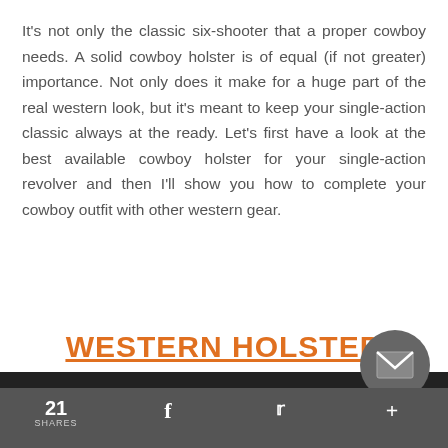It's not only the classic six-shooter that a proper cowboy needs. A solid cowboy holster is of equal (if not greater) importance. Not only does it make for a huge part of the real western look, but it's meant to keep your single-action classic always at the ready. Let's first have a look at the best available cowboy holster for your single-action revolver and then I'll show you how to complete your cowboy outfit with other western gear.
WESTERN HOLSTER
21 SHARES  f  •  +